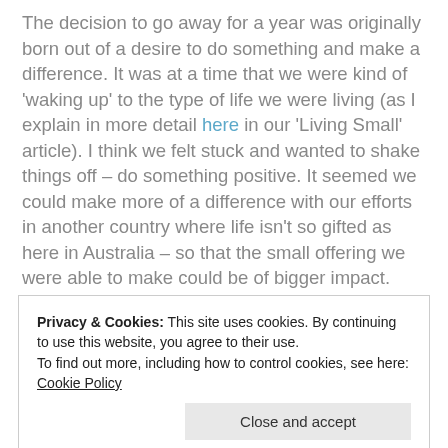The decision to go away for a year was originally born out of a desire to do something and make a difference. It was at a time that we were kind of 'waking up' to the type of life we were living (as I explain in more detail here in our 'Living Small' article). I think we felt stuck and wanted to shake things off – do something positive. It seemed we could make more of a difference with our efforts in another country where life isn't so gifted as here in Australia – so that the small offering we were able to make could be of bigger impact. Couple this with a wish to experience
Privacy & Cookies: This site uses cookies. By continuing to use this website, you agree to their use. To find out more, including how to control cookies, see here: Cookie Policy
could probably reduce the safety risks and still